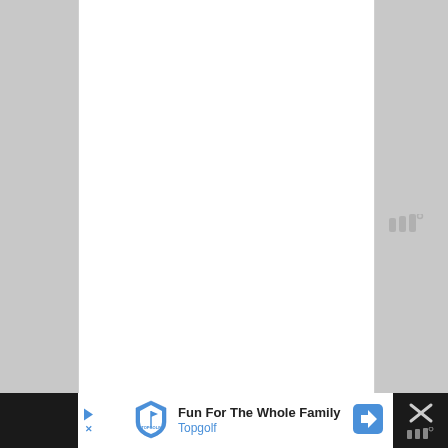[Figure (screenshot): A mostly blank white document/webpage area with a loading indicator (three vertical bars with a degree symbol) visible in the upper right portion of the white area. The page appears to be loading content.]
[Figure (infographic): Advertisement banner at the bottom of the screen for Topgolf. Shows Topgolf shield logo, text 'Fun For The Whole Family' in bold black and 'Topgolf' in blue, a blue navigation/directions arrow button, and an X close button. Left side has a blue play triangle and X dismiss controls.]